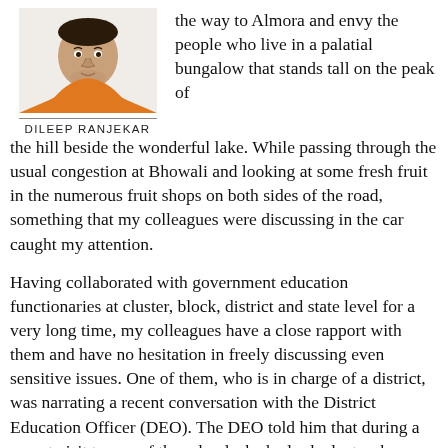[Figure (photo): Headshot photo of Dileep Ranjekar wearing an orange top]
DILEEP RANJEKAR
the way to Almora and envy the people who live in a palatial bungalow that stands tall on the peak of the hill beside the wonderful lake. While passing through the usual congestion at Bhowali and looking at some fresh fruit in the numerous fruit shops on both sides of the road, something that my colleagues were discussing in the car caught my attention.
Having collaborated with government education functionaries at cluster, block, district and state level for a very long time, my colleagues have a close rapport with them and have no hesitation in freely discussing even sensitive issues. One of them, who is in charge of a district, was narrating a recent conversation with the District Education Officer (DEO). The DEO told him that during a recent visit to one of the schools, he had asked a teacher about his idea of quality education. The teacher replied that it